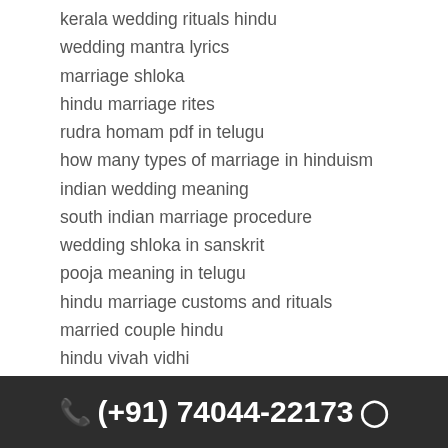kerala wedding rituals hindu
wedding mantra lyrics
marriage shloka
hindu marriage rites
rudra homam pdf in telugu
how many types of marriage in hinduism
indian wedding meaning
south indian marriage procedure
wedding shloka in sanskrit
pooja meaning in telugu
hindu marriage customs and rituals
married couple hindu
hindu vivah vidhi
hindu rituals after marriage
saptapadi meaning in english
hindu marriage traditions and rituals
wedding ceremony meaning in telugu
devi mantra for marriage
south indian marriage ceremony
(+91) 74044-22173